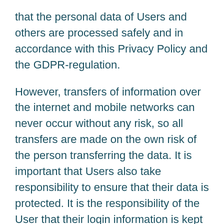that the personal data of Users and others are processed safely and in accordance with this Privacy Policy and the GDPR-regulation.
However, transfers of information over the internet and mobile networks can never occur without any risk, so all transfers are made on the own risk of the person transferring the data. It is important that Users also take responsibility to ensure that their data is protected. It is the responsibility of the User that their login information is kept secret.